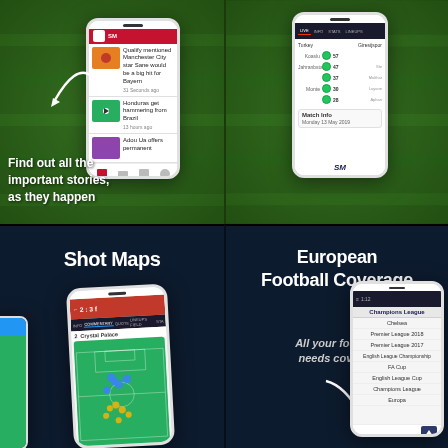[Figure (screenshot): Top-left quadrant: dark green grass background with a white smartphone showing a football news feed app. Text overlay reads 'Find out all the important stories, as they happen'. Arrow pointing to phone.]
[Figure (screenshot): Top-right quadrant: dark green grass background with a white smartphone showing a football match score/timeline screen with green dots and match info for Monday 13 May 2019.]
[Figure (screenshot): Bottom-left quadrant: dark navy background. Title 'Shot Maps'. White smartphone showing a football shot map with Crystal Palace, green pitch with colored dots indicating shots.]
[Figure (screenshot): Bottom-right quadrant: dark navy background. Title 'European Football Coverage'. Subtitle 'All your football needs covered'. White smartphone showing leagues list: Champions League, Chelsea, Premier League 2018, Premier League 2017, English League Championship, FA Cup, English League Cup, Champions League, Europa.]